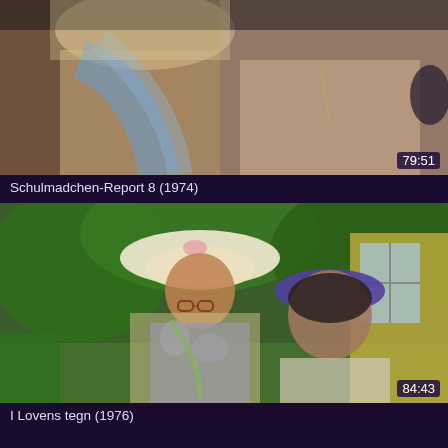[Figure (screenshot): Video thumbnail for Schulmadchen-Report 8 (1974) showing two young women, duration badge showing 79:51]
Schulmadchen-Report 8 (1974)
[Figure (screenshot): Video thumbnail for I Lovens tegn (1976) showing two elderly women with hats outdoors in a garden, duration badge showing 84:43]
I Lovens tegn (1976)